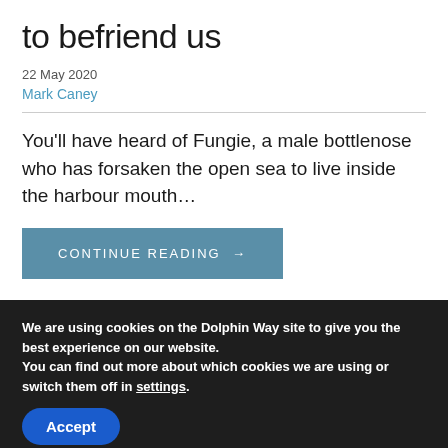to befriend us
22 May 2020
Mark Caney
You'll have heard of Fungie, a male bottlenose who has forsaken the open sea to live inside the harbour mouth…
CONTINUE READING →
We are using cookies on the Dolphin Way site to give you the best experience on our website.
You can find out more about which cookies we are using or switch them off in settings.
Accept